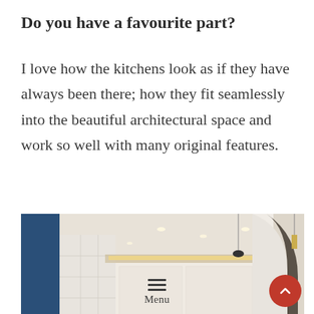Do you have a favourite part?
I love how the kitchens look as if they have always been there; how they fit seamlessly into the beautiful architectural space and work so well with many original features.
[Figure (photo): Interior photograph of a modern kitchen with recessed ceiling lights, white cabinetry, warm accent lighting, and a staircase with an arched opening visible on the right side.]
Menu